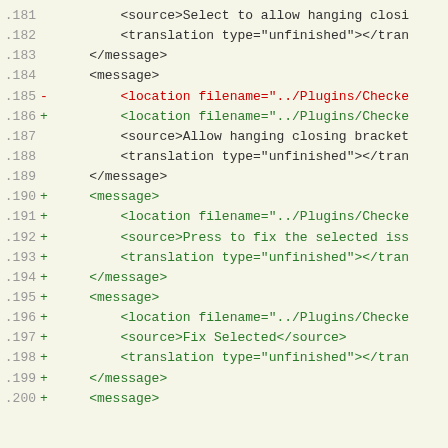Code diff showing XML translation file changes, lines 181-200
.181    <source>Select to allow hanging closi
.182    <translation type="unfinished"></tran
.183    </message>
.184    <message>
.185 -  <location filename="../Plugins/Checke
.186 +  <location filename="../Plugins/Checke
.187    <source>Allow hanging closing bracket
.188    <translation type="unfinished"></tran
.189    </message>
.190 +  <message>
.191 +  <location filename="../Plugins/Checke
.192 +  <source>Press to fix the selected iss
.193 +  <translation type="unfinished"></tran
.194 +  </message>
.195 +  <message>
.196 +  <location filename="../Plugins/Checke
.197 +  <source>Fix Selected</source>
.198 +  <translation type="unfinished"></tran
.199 +  </message>
.200 +  <message>